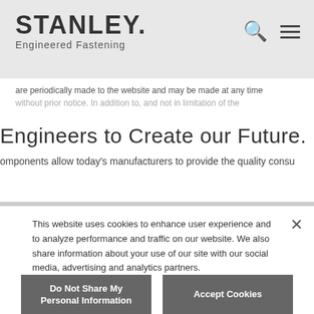[Figure (logo): Stanley Engineered Fastening logo with search and menu icons]
are periodically made to the website and may be made at any time without prior notice. In addition to, and not in limitation of the
Engineers to Create our Future.
omponents allow today's manufacturers to provide the quality consu
This website uses cookies to enhance user experience and to analyze performance and traffic on our website. We also share information about your use of our site with our social media, advertising and analytics partners.
Do Not Share My Personal Information
Accept Cookies